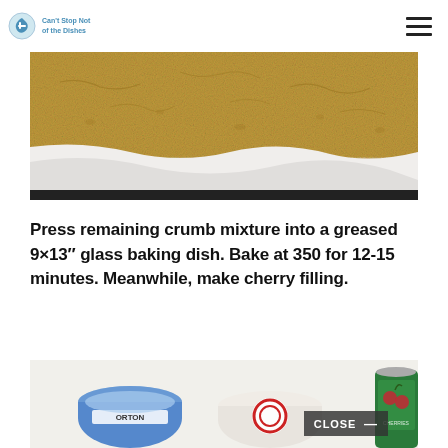Logo / site navigation header
[Figure (photo): Close-up overhead photo of golden-brown baked crumb crust in a white baking dish, showing texture and slight cracks on top surface]
Press remaining crumb mixture into a greased 9×13″ glass baking dish. Bake at 350 for 12-15 minutes. Meanwhile, make cherry filling.
[Figure (photo): Photo of ingredients on a white surface including a blue container labeled ORTON, a round container with a red logo, and a can of cherries with a green label, with a CLOSE button overlay]